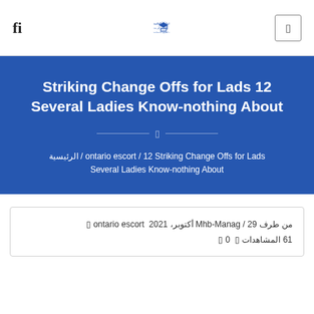fl | [University logo - الجامعة العالمية للتعليم عن بعد كلية العلوم الانسانية] | [search box]
Striking Change Offs for Lads 12 Several Ladies Know-nothing About
الرئيسية / 12 Striking Change Offs for Lads / ontario escort / Several Ladies Know-nothing About
من طرف Mhb-Manag / 29 أكتوبر، 2021  ontario escort 🔲  61 المشاهدات 🔲  0 🔲